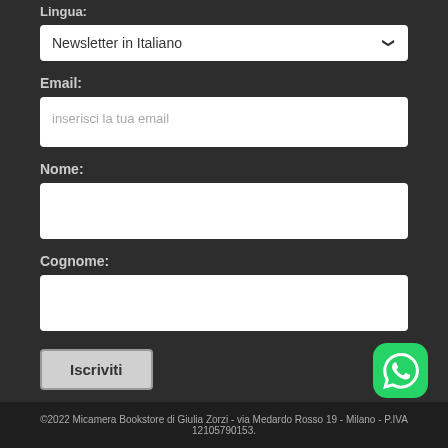Lingua:
Newsletter in Italiano
Email:
inserisci la tua email
Nome:
Cognome:
Iscriviti
[Figure (screenshot): WhatsApp icon button, green rounded square with white phone handset icon]
©2022 Micamera Bookstore di Giulia Zorzi - via Medardo Rosso 19 - Milano - P.IVA 12105790153.